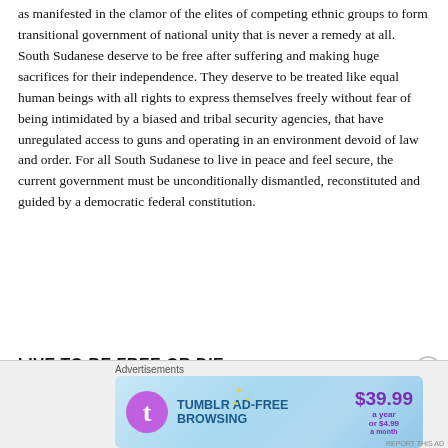as manifested in the clamor of the elites of competing ethnic groups to form transitional government of national unity that is never a remedy at all. South Sudanese deserve to be free after suffering and making huge sacrifices for their independence. They deserve to be treated like equal human beings with all rights to express themselves freely without fear of being intimidated by a biased and tribal security agencies, that have unregulated access to guns and operating in an environment devoid of law and order. For all South Sudanese to live in peace and feel secure, the current government must be unconditionally dismantled, reconstituted and guided by a democratic federal constitution.
LIVE TO BE FREE OR DIE.
[Figure (other): Tumblr Ad-Free Browsing advertisement banner. Shows Tumblr logo, text 'TUMBLR AD-FREE BROWSING', price '$39.99 a year or $4.99 a month'. Labeled 'Advertisements' above.]